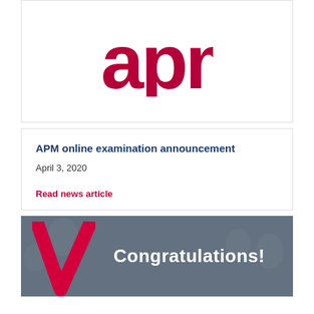[Figure (logo): APM logo — lowercase 'apm' in dark pink/crimson color]
APM online examination announcement
April 3, 2020
Read news article
[Figure (photo): Dark blue-grey photo background with a large pink/crimson checkmark V on the left and white bold text 'Congratulations!' on the right]